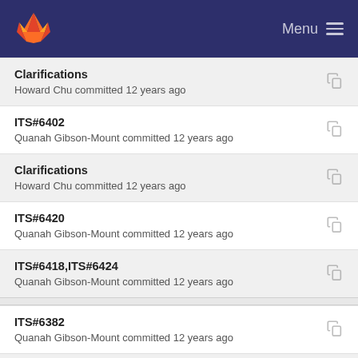GitLab Menu
Clarifications
Howard Chu committed 12 years ago
ITS#6402
Quanah Gibson-Mount committed 12 years ago
Clarifications
Howard Chu committed 12 years ago
ITS#6420
Quanah Gibson-Mount committed 12 years ago
ITS#6418,ITS#6424
Quanah Gibson-Mount committed 12 years ago
ITS#6382
Quanah Gibson-Mount committed 12 years ago
ITS#6290
Quanah Gibson-Mount committed 12 years ago